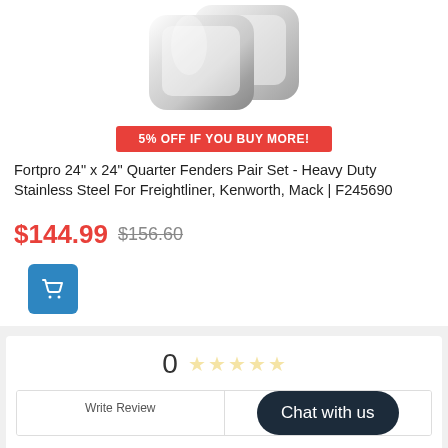[Figure (photo): Product photo of stainless steel quarter fenders, chrome/polished finish, partially cropped at top]
5% OFF IF YOU BUY MORE!
Fortpro 24" x 24" Quarter Fenders Pair Set - Heavy Duty Stainless Steel For Freightliner, Kenworth, Mack | F245690
$144.99 $156.60
[Figure (other): Blue add-to-cart button with shopping cart icon]
0 ☆☆☆☆☆
Write Review
Chat with us
5 ★ (0)
4 ★ (0)
3 ★ (0)